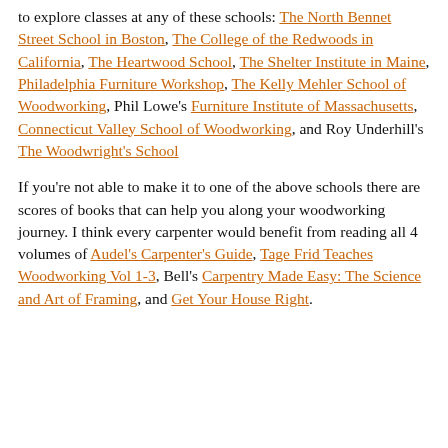to explore classes at any of these schools: The North Bennet Street School in Boston, The College of the Redwoods in California, The Heartwood School, The Shelter Institute in Maine, Philadelphia Furniture Workshop, The Kelly Mehler School of Woodworking, Phil Lowe's Furniture Institute of Massachusetts, Connecticut Valley School of Woodworking, and Roy Underhill's The Woodwright's School
If you're not able to make it to one of the above schools there are scores of books that can help you along your woodworking journey. I think every carpenter would benefit from reading all 4 volumes of Audel's Carpenter's Guide, Tage Frid Teaches Woodworking Vol 1-3, Bell's Carpentry Made Easy: The Science and Art of Framing, and Get Your House Right.